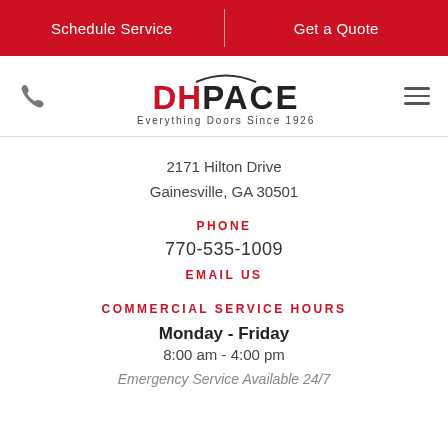Schedule Service | Get a Quote
[Figure (logo): DH Pace logo with arc above DH, tagline: Everything Doors Since 1926]
2171 Hilton Drive
Gainesville, GA 30501
PHONE
770-535-1009
EMAIL US
COMMERCIAL SERVICE HOURS
Monday - Friday
8:00 am - 4:00 pm
Emergency Service Available 24/7